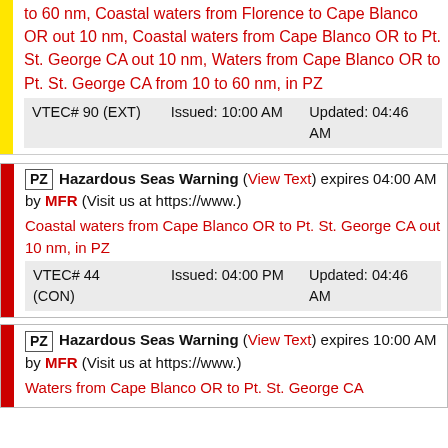to 60 nm, Coastal waters from Florence to Cape Blanco OR out 10 nm, Coastal waters from Cape Blanco OR to Pt. St. George CA out 10 nm, Waters from Cape Blanco OR to Pt. St. George CA from 10 to 60 nm, in PZ
| VTEC# | Issued | Updated |
| --- | --- | --- |
| VTEC# 90 (EXT) | Issued: 10:00 AM | Updated: 04:46 AM |
PZ Hazardous Seas Warning (View Text) expires 04:00 AM by MFR (Visit us at https://www.)
Coastal waters from Cape Blanco OR to Pt. St. George CA out 10 nm, in PZ
| VTEC# | Issued | Updated |
| --- | --- | --- |
| VTEC# 44 (CON) | Issued: 04:00 PM | Updated: 04:46 AM |
PZ Hazardous Seas Warning (View Text) expires 10:00 AM by MFR (Visit us at https://www.)
Waters from Cape Blanco OR to Pt. St. George CA